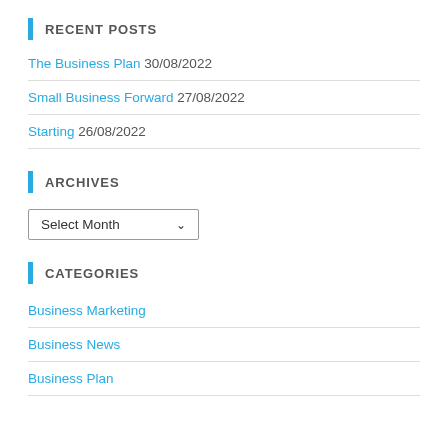RECENT POSTS
The Business Plan 30/08/2022
Small Business Forward 27/08/2022
Starting 26/08/2022
ARCHIVES
Select Month
CATEGORIES
Business Marketing
Business News
Business Plan